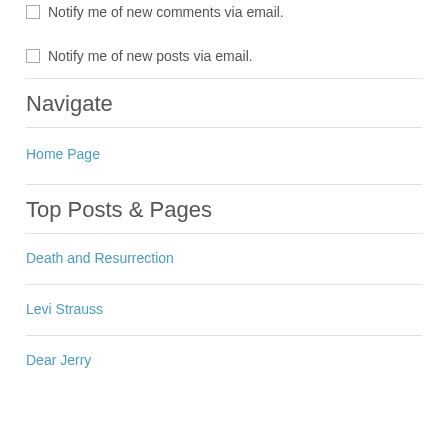Notify me of new comments via email.
Notify me of new posts via email.
Navigate
Home Page
Top Posts & Pages
Death and Resurrection
Levi Strauss
Dear Jerry